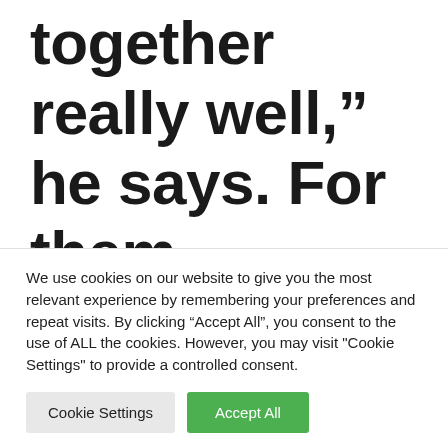together really well,” he says. For them, happiness lies in giving. You can’t understand something like that
We use cookies on our website to give you the most relevant experience by remembering your preferences and repeat visits. By clicking “Accept All”, you consent to the use of ALL the cookies. However, you may visit "Cookie Settings" to provide a controlled consent.